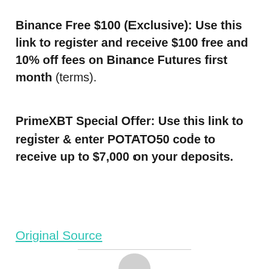Binance Free $100 (Exclusive): Use this link to register and receive $100 free and 10% off fees on Binance Futures first month (terms).
PrimeXBT Special Offer: Use this link to register & enter POTATO50 code to receive up to $7,000 on your deposits.
Original Source